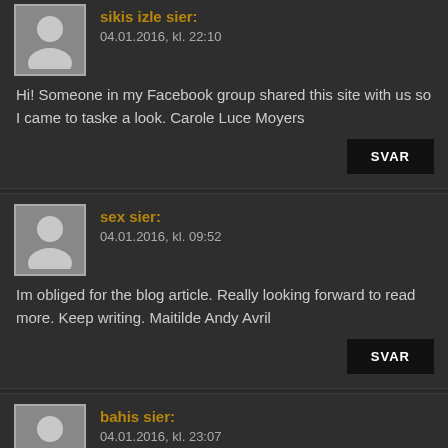sikis izle sier: 04.01.2016, kl. 22:10
Hi! Someone in my Facebook group shared this site with us so I came to taske a look. Carole Luce Moyers
SVAR
sex sier: 04.01.2016, kl. 09:52
Im obliged for the blog article. Really looking forward to read more. Keep writing. Maitilde Andy Avril
SVAR
bahis sier: 04.01.2016, kl. 23:07